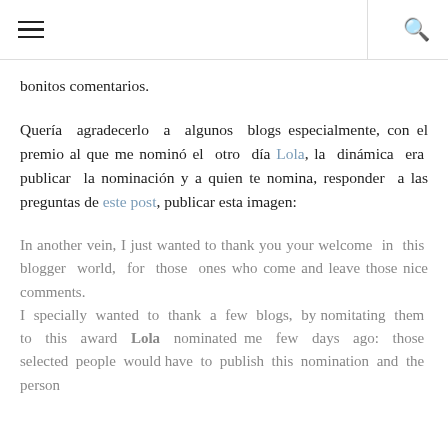≡  🔍
bonitos comentarios.
Quería agradecerlo a algunos blogs especialmente, con el premio al que me nominó el otro día Lola, la dinámica era publicar la nominación y a quien te nomina, responder a las preguntas de este post, publicar esta imagen:
In another vein, I just wanted to thank you your welcome in this blogger world, for those ones who come and leave those nice comments.
I specially wanted to thank a few blogs, by nomitating them to this award Lola nominated me few days ago: those selected people would have to publish this nomination and the person